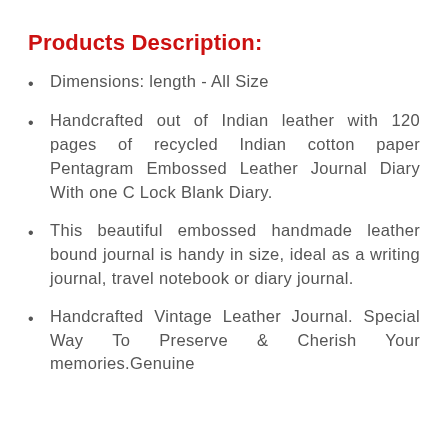Products Description:
Dimensions: length - All Size
Handcrafted out of Indian leather with 120 pages of recycled Indian cotton paper Pentagram Embossed Leather Journal Diary With one C Lock Blank Diary.
This beautiful embossed handmade leather bound journal is handy in size, ideal as a writing journal, travel notebook or diary journal.
Handcrafted Vintage Leather Journal. Special Way To Preserve & Cherish Your memories.Genuine